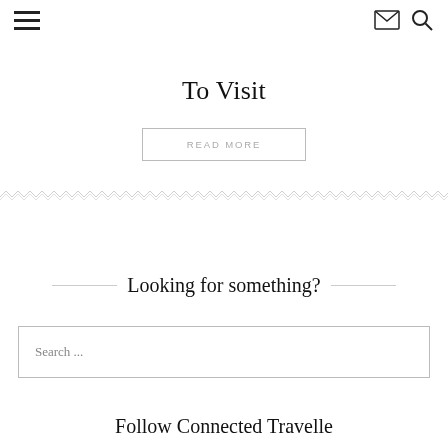To Visit
READ MORE
[Figure (illustration): Decorative horizontal ornamental divider with repeating chevron/wave pattern in light gray]
Looking for something?
Search ...
Follow Connected Traveller